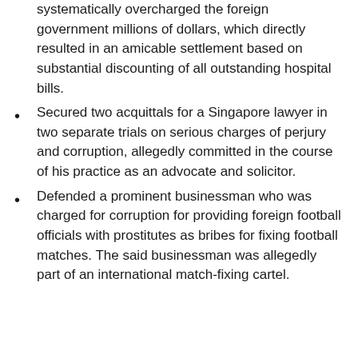systematically overcharged the foreign government millions of dollars, which directly resulted in an amicable settlement based on substantial discounting of all outstanding hospital bills.
Secured two acquittals for a Singapore lawyer in two separate trials on serious charges of perjury and corruption, allegedly committed in the course of his practice as an advocate and solicitor.
Defended a prominent businessman who was charged for corruption for providing foreign football officials with prostitutes as bribes for fixing football matches. The said businessman was allegedly part of an international match-fixing cartel.